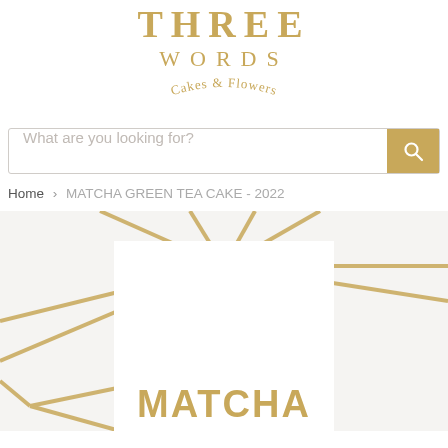THREE WORDS Cakes & Flowers
[Figure (screenshot): Search bar with placeholder text 'What are you looking for?' and a gold search button icon]
Home › MATCHA GREEN TEA CAKE - 2022
[Figure (photo): Product image showing a decorated box/package with gold geometric starburst lines pattern on a light grey background, and a white card in the center with the word MATCHA in large bold gold letters]